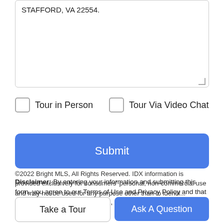STAFFORD, VA 22554.
Tour in Person
Tour Via Video Chat
Submit
Disclaimer: By entering your information and submitting this form, you agree to our Terms of Use and Privacy Policy and that you may be contacted by phone, text message and email about your inquiry.
©2022 Bright MLS, All Rights Reserved. IDX information is provided exclusively for consumers' personal, non-commercial use and may not be used for any purpose other than to identify...
Take a Tour
Ask A Question